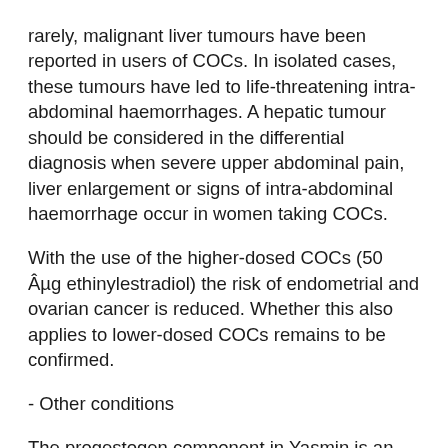rarely, malignant liver tumours have been reported in users of COCs. In isolated cases, these tumours have led to life-threatening intra-abdominal haemorrhages. A hepatic tumour should be considered in the differential diagnosis when severe upper abdominal pain, liver enlargement or signs of intra-abdominal haemorrhage occur in women taking COCs.
With the use of the higher-dosed COCs (50 Âµg ethinylestradiol) the risk of endometrial and ovarian cancer is reduced. Whether this also applies to lower-dosed COCs remains to be confirmed.
- Other conditions
The progestogen component in Yasmin is an aldosterone antagonist with potassium sparing